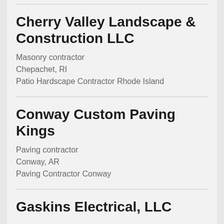Cherry Valley Landscape & Construction LLC
Masonry contractor
Chepachet, RI
Patio Hardscape Contractor Rhode Island
Conway Custom Paving Kings
Paving contractor
Conway, AR
Paving Contractor Conway
Gaskins Electrical, LLC